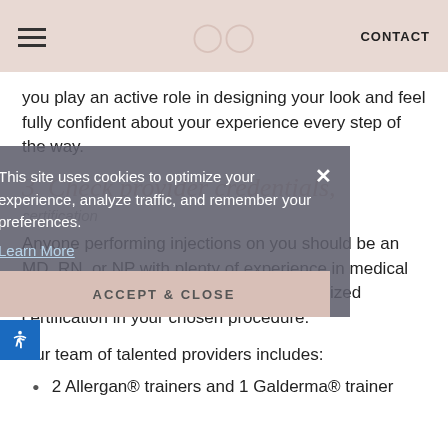CONTACT
you play an active role in designing your look and feel fully confident about your experience every step of the way.
3. Check provider credentials,
Anyone performing injections on you should be an MD, RN, or NP with plenty of experience in medical training, experience, and (ideally) specialized certification in your chosen procedure.
Our team of talented providers includes:
2 Allergan® trainers and 1 Galderma® trainer
[Figure (screenshot): Cookie consent modal overlay with gray semi-transparent background, showing text: 'This site uses cookies to optimize your experience, analyze traffic, and remember your preferences.' with a Learn More link and ACCEPT & CLOSE button.]